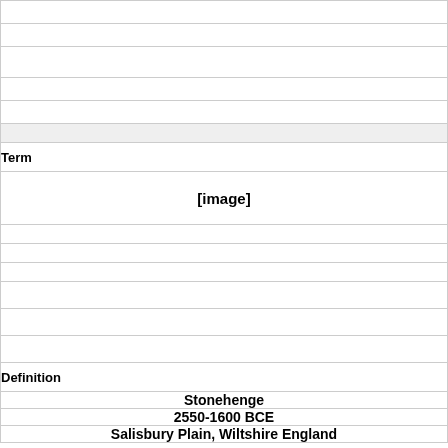|  |
|  |
|  |
|  |
|  |
| [gray row] |
| Term |
| [image] |
|  |
|  |
|  |
|  |
|  |
|  |
| Definition |
| Stonehenge |
| 2550-1600 BCE |
| Salisbury Plain, Wiltshire England |